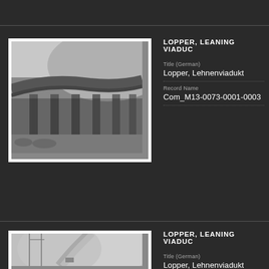[Figure (photo): Black and white photograph of the Lopper Leaning Viaduct, showing the underside of a curved concrete bridge structure with pillars, mountainside in background.]
LOPPER, LEANING VIADUC
Title (German)
Lopper, Lehnenviadukt
Record Name
Com_M13-0073-0001-0003
[Figure (photo): Black and white photograph of the Lopper Leaning Viaduct area showing a road with a car, cranes, and mountain scenery in winter/misty conditions.]
LOPPER, LEANING VIADUC
Title (German)
Lopper, Lehnenviadukt
Record Name
Com_M13-0073-0001-0004